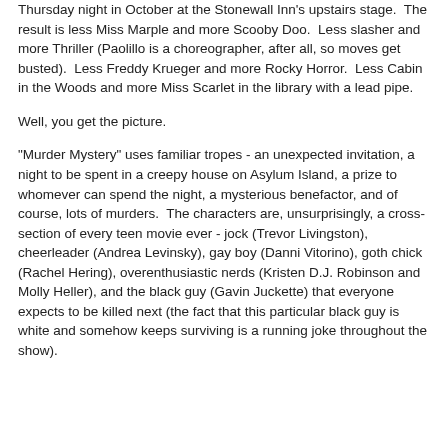Thursday night in October at the Stonewall Inn's upstairs stage.  The result is less Miss Marple and more Scooby Doo.  Less slasher and more Thriller (Paolillo is a choreographer, after all, so moves get busted).  Less Freddy Krueger and more Rocky Horror.  Less Cabin in the Woods and more Miss Scarlet in the library with a lead pipe.
Well, you get the picture.
"Murder Mystery" uses familiar tropes - an unexpected invitation, a night to be spent in a creepy house on Asylum Island, a prize to whomever can spend the night, a mysterious benefactor, and of course, lots of murders.  The characters are, unsurprisingly, a cross-section of every teen movie ever - jock (Trevor Livingston), cheerleader (Andrea Levinsky), gay boy (Danni Vitorino), goth chick (Rachel Hering), overenthusiastic nerds (Kristen D.J. Robinson and Molly Heller), and the black guy (Gavin Juckette) that everyone expects to be killed next (the fact that this particular black guy is white and somehow keeps surviving is a running joke throughout the show).